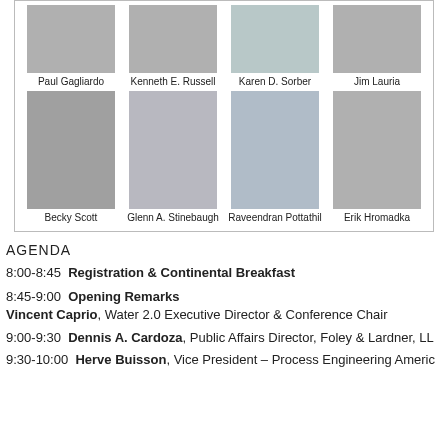[Figure (photo): Grid of headshot photos of speakers: Paul Gagliardo, Kenneth E. Russell, Karen D. Sorber, Jim Lauria (top row); Becky Scott, Glenn A. Stinebaugh, Raveendran Pottathil, Erik Hromadka (bottom row)]
AGENDA
8:00-8:45  Registration & Continental Breakfast
8:45-9:00  Opening Remarks
Vincent Caprio, Water 2.0 Executive Director & Conference Chair
9:00-9:30  Dennis A. Cardoza, Public Affairs Director, Foley & Lardner, LL
9:30-10:00  Herve Buisson, Vice President – Process Engineering Americ